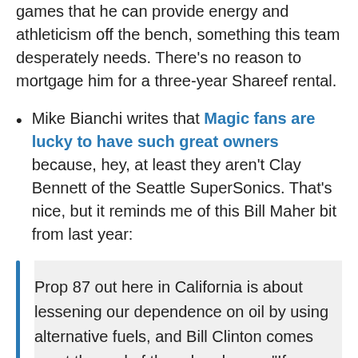games that he can provide energy and athleticism off the bench, something this team desperately needs. There's no reason to mortgage him for a three-year Shareef rental.
Mike Bianchi writes that Magic fans are lucky to have such great owners because, hey, at least they aren't Clay Bennett of the Seattle SuperSonics. That's nice, but it reminds me of this Bill Maher bit from last year:
Prop 87 out here in California is about lessening our dependence on oil by using alternative fuels, and Bill Clinton comes on at the end of the ad and says, "If Brazil can do it, America can, too." Excuse me, since when did America have to buck itself up by saying